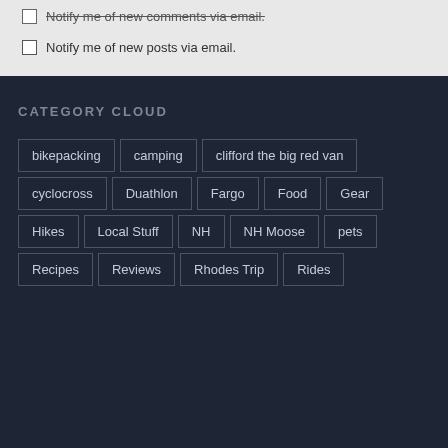Notify me of new comments via email.
Notify me of new posts via email.
CATEGORY CLOUD
bikepacking
camping
clifford the big red van
cyclocross
Duathlon
Fargo
Food
Gear
Hikes
Local Stuff
NH
NH Moose
pets
Recipes
Reviews
Rhodes Trip
Rides